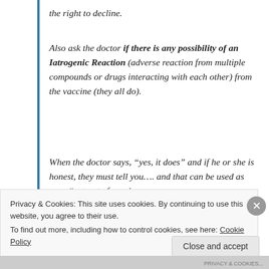the right to decline.
Also ask the doctor if there is any possibility of an Iatrogenic Reaction (adverse reaction from multiple compounds or drugs interacting with each other) from the vaccine (they all do).
When the doctor says, “yes, it does” and if he or she is honest, they must tell you…. and that can be used as your “get out of vaccine
Privacy & Cookies: This site uses cookies. By continuing to use this website, you agree to their use.
To find out more, including how to control cookies, see here: Cookie Policy
Close and accept